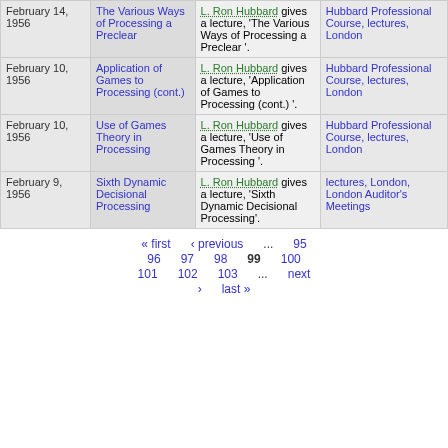| Date | Title | Description | Source |
| --- | --- | --- | --- |
| February 14, 1956 | The Various Ways of Processing a Preclear | L. Ron Hubbard gives a lecture, 'The Various Ways of Processing a Preclear '. | Hubbard Professional Course, lectures, London |
| February 10, 1956 | Application of Games to Processing (cont.) | L. Ron Hubbard gives a lecture, 'Application of Games to Processing (cont.) '. | Hubbard Professional Course, lectures, London |
| February 10, 1956 | Use of Games Theory in Processing | L. Ron Hubbard gives a lecture, 'Use of Games Theory in Processing '. | Hubbard Professional Course, lectures, London |
| February 9, 1956 | Sixth Dynamic Decisional Processing | L. Ron Hubbard gives a lecture, 'Sixth Dynamic Decisional Processing'. | lectures, London, London Auditor's Meetings |
« first ‹ previous ... 95 96 97 98 99 100 101 102 103 ... next › last »